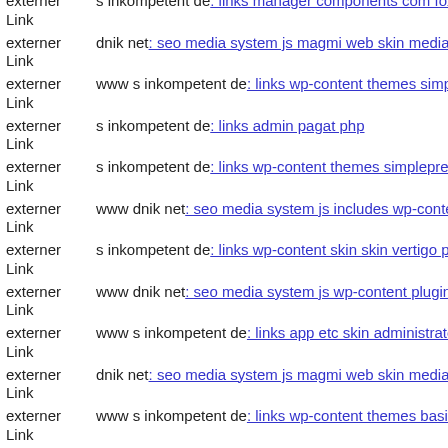externer Link s inkompetent de: links manager components com foxconta
externer Link dnik net: seo media system js magmi web skin media spicon
externer Link www s inkompetent de: links wp-content themes simplepre
externer Link s inkompetent de: links admin pagat php
externer Link s inkompetent de: links wp-content themes simplepress tim
externer Link www dnik net: seo media system js includes wp-content the
externer Link s inkompetent de: links wp-content skin skin vertigo php
externer Link www dnik net: seo media system js wp-content plugins che
externer Link www s inkompetent de: links app etc skin administrator wp
externer Link dnik net: seo media system js magmi web skin media comp
externer Link www s inkompetent de: links wp-content themes basic paga
externer Link dnik net: seo media components com b2jcontact media sites